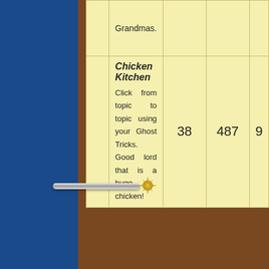|  | Forum | Topics | Posts |  |
| --- | --- | --- | --- | --- |
|  | Grandmas. |  |  |  |
|  | Chicken Kitchen
Click from topic to topic using your Ghost Tricks. Good lord that is a huge chicken! | 38 | 487 | 9 |
Delete all board cookies | The team
Board index
Who is online
In total there are 84 users online :: 5 registered, 0 hidden and 79 guests (based on users active over